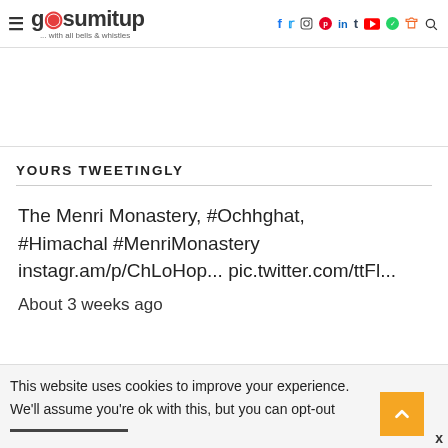gosumitup ... with all bells & whistles — social navigation header
YOURS TWEETINGLY
The Menri Monastery, #Ochhghat, #Himachal #MenriMonastery instagr.am/p/ChLoHop... pic.twitter.com/ttFl... About 3 weeks ago
This website uses cookies to improve your experience. We'll assume you're ok with this, but you can opt-out